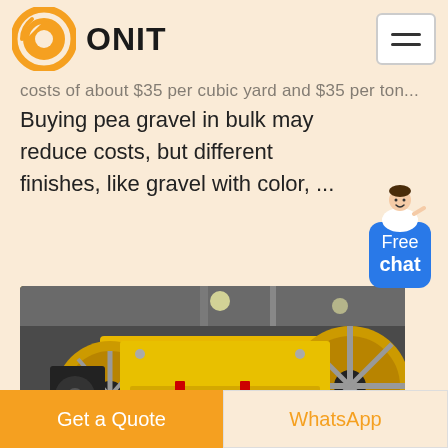ONIT
costs of about $35 per cubic yard and $35 per ton...
Buying pea gravel in bulk may reduce costs, but different finishes, like gravel with color, ...
[Figure (photo): Yellow jaw crusher machine photographed from below in an industrial warehouse setting]
Get a Quote
WhatsApp